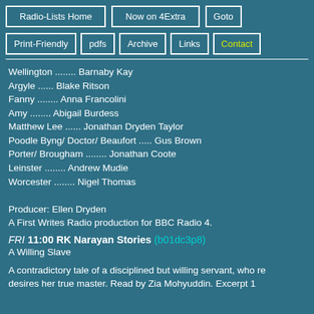Radio-Lists Home | Now on 4Extra | Goto
Print-Friendly | pdfs | Archive | Links | Contact
Wellington ........ Barnaby Kay
Argyle ...... Blake Ritson
Fanny ........ Anna Francolini
Amy ........ Abigail Burdess
Matthew Lee ...... Jonathan Dryden Taylor
Poodle Byng/ Doctor/ Beaufort ..... Gus Brown
Porter/ Brougham ........ Jonathan Coote
Leinster ........ Andrew Mudie
Worcester ........ Nigel Thomas

Producer: Ellen Dryden
A First Writes Radio production for BBC Radio 4.
FRI 11:00 RK Narayan Stories (b01dc3p8) A Willing Slave
A contradictory tale of a disciplined but willing servant, who re desires her true master. Read by Zia Mohyuddin. Excerpt 1